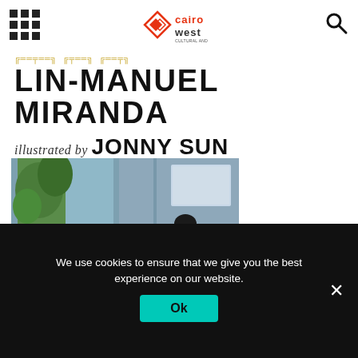Cairo West — navigation header with grid menu icon, Cairo West logo, and search icon
LIN-MANUEL MIRANDA illustrated by JONNY SUN
[Figure (photo): Book cover photo showing a person in blue clothing standing in a blue-walled architectural space with a window and green foliage visible on the left]
We use cookies to ensure that we give you the best experience on our website.
Ok